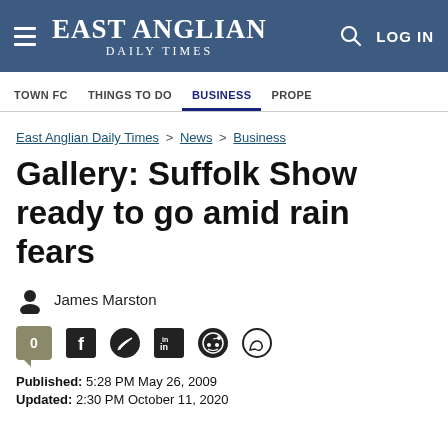EAST ANGLIAN DAILY TIMES | LOG IN
TOWN FC | THINGS TO DO | BUSINESS | PROPE
East Anglian Daily Times > News > Business
Gallery: Suffolk Show ready to go amid rain fears
James Marston
Published: 5:28 PM May 26, 2009
Updated: 2:30 PM October 11, 2020